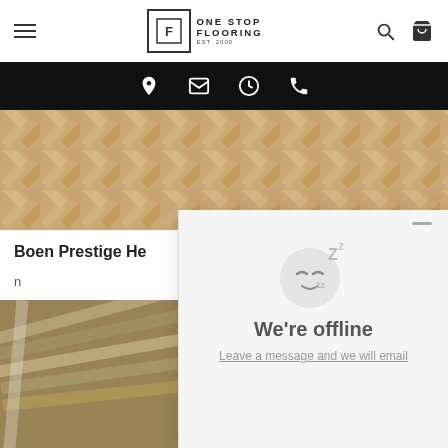One Stop Flooring - website header with navigation
[Figure (screenshot): Black navigation bar with location pin, email, clock, and phone icons in white]
[Figure (photo): Herringbone wood flooring pattern in warm tan/beige tones]
Boen Prestige He…
n…
[Figure (photo): Stacked wooden planks/floorboards in a construction setting]
[Figure (screenshot): Chat widget showing sleeping face emoji with Zzz text, 'We're offline' heading, and 'Leave a message and we will email' link]